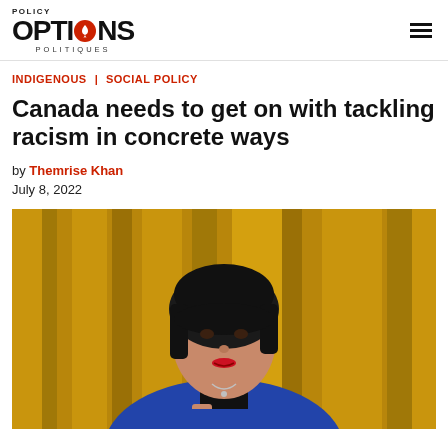POLICY OPTIONS POLITIQUES
INDIGENOUS | SOCIAL POLICY
Canada needs to get on with tackling racism in concrete ways
by Themrise Khan
July 8, 2022
[Figure (photo): Photo of a woman with short dark hair wearing a blue jacket, speaking in what appears to be the House of Commons with golden curtains in the background.]